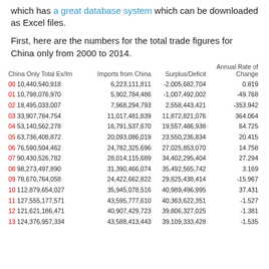which has a great database system which can be downloaded as Excel files.
First, here are the numbers for the total trade figures for China only from 2000 to 2014.
| China Only Total Ex/Im | Imports from China | Surplus/Deficit | Annual Rate of Change |
| --- | --- | --- | --- |
| 00 10,440,540,918 | 6,223,111,811 | -2,005,682,704 | 0.819 |
| 01 10,798,076,970 | 5,902,784,486 | -1,007,492,002 | -49.768 |
| 02 18,495,033,007 | 7,968,294,793 | 2,558,443,421 | -353.942 |
| 03 33,907,784,754 | 11,017,481,839 | 11,872,821,076 | 364.064 |
| 04 53,140,562,278 | 16,791,537,670 | 19,557,486,938 | 64.725 |
| 05 63,736,408,872 | 20,093,086,019 | 23,550,236,834 | 20.415 |
| 06 76,590,504,462 | 24,782,325,696 | 27,025,853,070 | 14.758 |
| 07 90,430,526,782 | 28,014,115,689 | 34,402,295,404 | 27.294 |
| 08 98,273,497,890 | 31,390,466,074 | 35,492,565,742 | 3.169 |
| 09 78,670,764,058 | 24,422,662,822 | 29,825,438,414 | -15.967 |
| 10 112,879,654,027 | 35,945,078,516 | 40,989,496,995 | 37.431 |
| 11 127,555,177,571 | 43,595,777,610 | 40,363,622,351 | -1.527 |
| 12 121,621,186,471 | 40,907,429,723 | 39,806,327,025 | -1.381 |
| 13 124,376,957,334 | 43,588,413,443 | 39,109,333,428 | -1.535 |